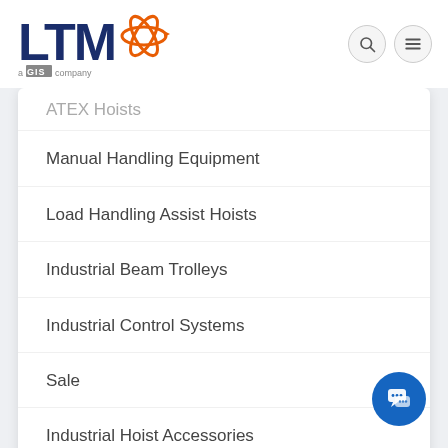[Figure (logo): LTM GIS company logo with orange starburst/atom graphic]
ATEX Hoists
Manual Handling Equipment
Load Handling Assist Hoists
Industrial Beam Trolleys
Industrial Control Systems
Sale
Industrial Hoist Accessories
[Figure (other): Blue circular chat button with speech bubble icon in bottom right corner]